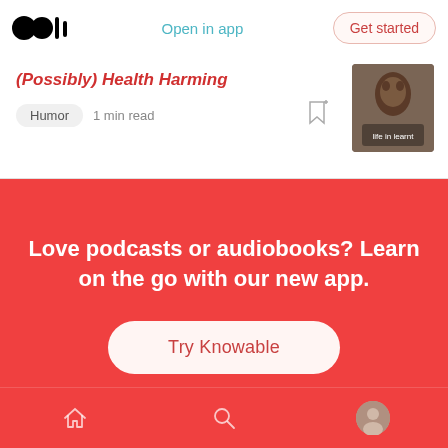Open in app | Get started
(Possibly) Health Harming
Humor  1 min read
[Figure (photo): Book or article thumbnail image]
Love podcasts or audiobooks? Learn on the go with our new app.
Try Knowable
Home | Search | Profile